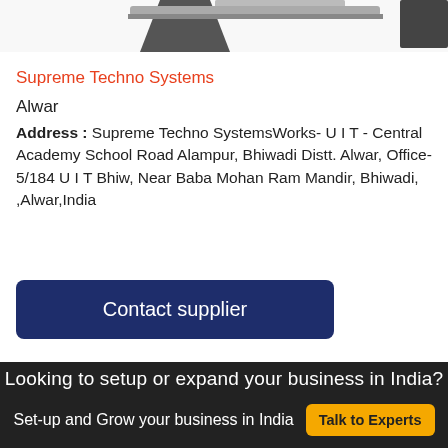[Figure (photo): Partial product image showing a roller conveyor system, cropped at top]
Supreme Techno Systems
Alwar
Address : Supreme Techno SystemsWorks- U I T - Central Academy School Road Alampur, Bhiwadi Distt. Alwar, Office- 5/184 U I T Bhiw, Near Baba Mohan Ram Mandir, Bhiwadi, ,Alwar,India
Contact supplier
Type: Roller Conveyor
Brand: Supreme
Material: Stainless Steel
Looking to setup or expand your business in India? Set-up and Grow your business in India Talk to Experts